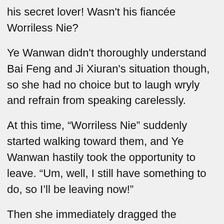his secret lover! Wasn't his fiancée Worriless Nie?
Ye Wanwan didn't thoroughly understand Bai Feng and Ji Xiuran's situation though, so she had no choice but to laugh wryly and refrain from speaking carelessly.
At this time, “Worriless Nie” suddenly started walking toward them, and Ye Wanwan hastily took the opportunity to leave. “Um, well, I still have something to do, so I’ll be leaving now!”
Then she immediately dragged the unwilling Big Dipper, whose mouth was dripping with grease, and Seven Star out of the Shen residence.
In the distance, she could see “Worriless Nie” daintily standing in front of Ji Xiuran and saying something to